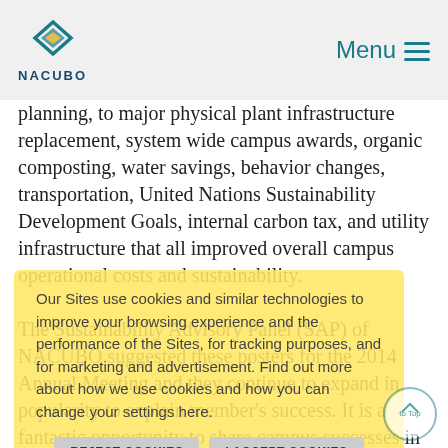NACUBO | Menu
planning, to major physical plant infrastructure replacement, system wide campus awards, organic composting, water savings, behavior changes, transportation, United Nations Sustainability Development Goals, internal carbon tax, and utility infrastructure that all improved overall campus operational costs and sustainability.
The Sustainability Advisory Panel (SAP) of NACUBO suggested these posters for the 2014 Annual Meeting and they continue to expand in popularity to explain member's success. It is a fantastic opportunity to share campus successes in a forum other than a concurrent session. Members should consider displaying a poster for the next 2020 Annual Meeting in Washington DC (National Harbor) and register that intent no later than March 1, 2020. (Speaker discount for member registration will only
Our Sites use cookies and similar technologies to improve your browsing experience and the performance of the Sites, for tracking purposes, and for marketing and advertisement. Find out more about how we use cookies and how you can change your settings here.
REJECT COOKIES | I ACCEPT COOKIES